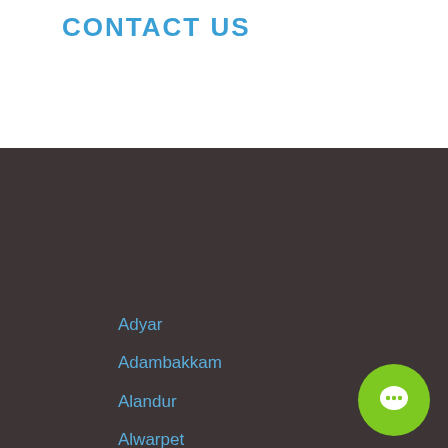CONTACT US
Adyar
Adambakkam
Alandur
Alwarpet
Alwarthirunagar
Ambattur
Aminjikarai
Annanagar
Arumbakkam
Ashoknagar
[Figure (illustration): Green circular chat bubble button with white speech bubble icon]